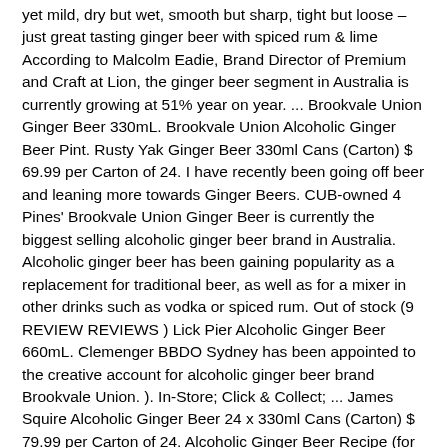yet mild, dry but wet, smooth but sharp, tight but loose – just great tasting ginger beer with spiced rum & lime According to Malcolm Eadie, Brand Director of Premium and Craft at Lion, the ginger beer segment in Australia is currently growing at 51% year on year. ... Brookvale Union Ginger Beer 330mL. Brookvale Union Alcoholic Ginger Beer Pint. Rusty Yak Ginger Beer 330ml Cans (Carton) $ 69.99 per Carton of 24. I have recently been going off beer and leaning more towards Ginger Beers. CUB-owned 4 Pines' Brookvale Union Ginger Beer is currently the biggest selling alcoholic ginger beer brand in Australia. Alcoholic ginger beer has been gaining popularity as a replacement for traditional beer, as well as for a mixer in other drinks such as vodka or spiced rum. Out of stock (9 REVIEW REVIEWS ) Lick Pier Alcoholic Ginger Beer 660mL. Clemenger BBDO Sydney has been appointed to the creative account for alcoholic ginger beer brand Brookvale Union. ). In-Store; Click & Collect; ... James Squire Alcoholic Ginger Beer 24 x 330ml Cans (Carton) $ 79.99 per Carton of 24. Alcoholic Ginger Beer Recipe (for 5L) 1/ Bring to boil and simmer for about 15 mins: 200g ginger – chopped or sliced (I use a food processor with a bit of water). Produced with authentic Australian ginger and natural ingredients, the Brookvale Union